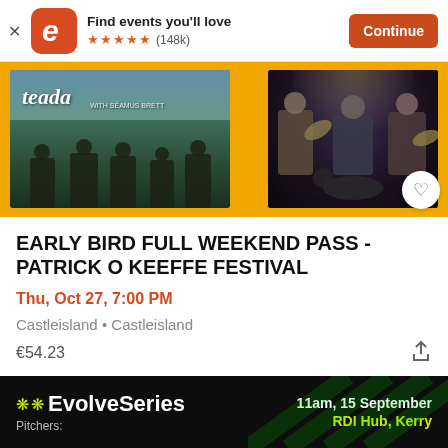[Figure (screenshot): Eventbrite app banner with logo, tagline 'Find events you'll love', five orange stars rating (148k reviews), and orange Continue button]
[Figure (photo): Event banner showing two images on yellow/orange background: left image is Teada band album cover with green landscape and musicians, right image shows live musicians playing fiddles on stage in dark setting. A white circular heart/save button overlaps the right image.]
EARLY BIRD FULL WEEKEND PASS - PATRICK O KEEFFE FESTIVAL
Thu, Oct 27, 7:00 PM
Castleisland • Castleisland
€54.23
[Figure (screenshot): EvolveSeries advertisement banner on black background with green diagonal lines. Shows EvolveSeries logo with snowflake icons, 'Pitchers:' label on left, '11am, 15 September' and 'RDI Hub, Kerry' on right in white and green text.]